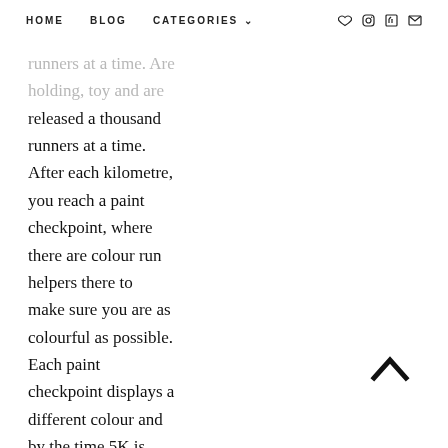HOME   BLOG   CATEGORIES
runners at a time. After each kilometre, you reach a paint checkpoint, where there are colour run helpers there to make sure you are as colourful as possible. Each paint checkpoint displays a different colour and by the time 5K is completed, all the runners look like human rainbows.

Once we passed the
[Figure (other): Scroll-to-top chevron arrow icon]